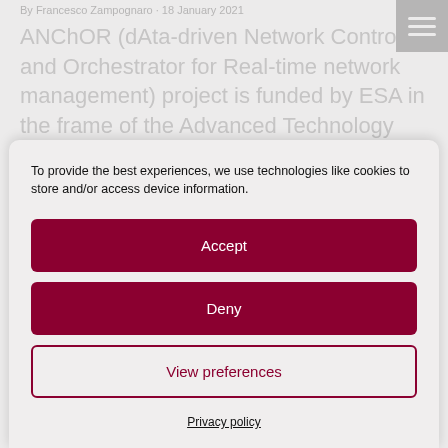By Francesco Zampognaro · 18 January 2021
ANChOR (dAta-driven Network Controller and Orchestrator for Real-time network management) project is funded by ESA in the frame of the Advanced Technology (AT) ARTES program. The
To provide the best experiences, we use technologies like cookies to store and/or access device information.
Accept
Deny
View preferences
Privacy policy